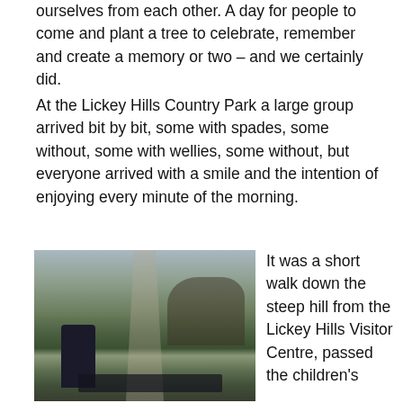ourselves from each other. A day for people to come and plant a tree to celebrate, remember and create a memory or two – and we certainly did.
At the Lickey Hills Country Park a large group arrived bit by bit, some with spades, some without, some with wellies, some without, but everyone arrived with a smile and the intention of enjoying every minute of the morning.
[Figure (photo): A photo showing a group of people walking down a path through Lickey Hills Country Park. A person in a dark jacket is visible in the foreground, with a long line of people stretching into the distance along a tree-lined path.]
It was a short walk down the steep hill from the Lickey Hills Visitor Centre, passed the children's